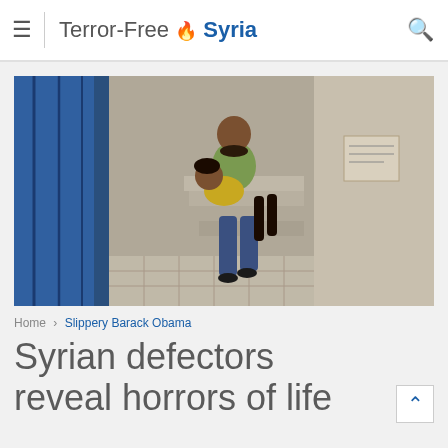Terror-Free Syria
[Figure (photo): A man carrying an injured child through what appears to be a building interior, with blue curtain on the left and concrete walls with stairs in the background.]
Home > Slippery Barack Obama
Syrian defectors reveal horrors of life